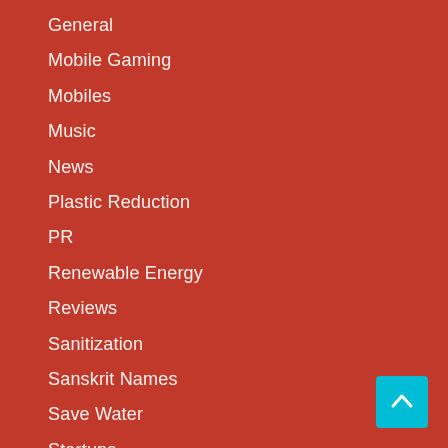General
Mobile Gaming
Mobiles
Music
News
Plastic Reduction
PR
Renewable Energy
Reviews
Sanitization
Sanskrit Names
Save Water
Startups
Tech